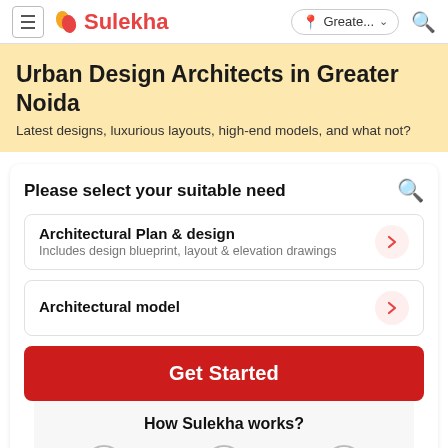Sulekha  Greate...
Urban Design Architects in Greater Noida
Latest designs, luxurious layouts, high-end models, and what not?
Please select your suitable need
Architectural Plan & design – Includes design blueprint, layout & elevation drawings
Architectural model
Get Started
How Sulekha works?
1
2
3